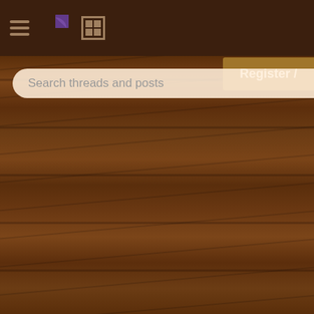Navigation bar with hamburger menu, pie chart icon, list icon, and Register button
Search threads and posts
Clay from old roof tiles — 9 replies
Cost Estimating for Ro... — 5 replies
future blueberry land p... — 14 replies
Wire Shelving Rabbit C... — 10 replies
Paul Wheaton's hugelk... — replies